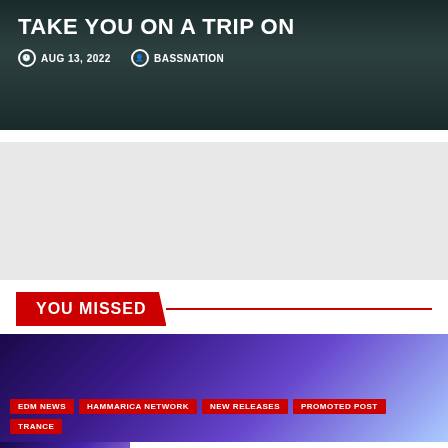TAKE YOU ON A TRIP ON
AUG 13, 2022  BASSNATION
YOU MISSED
EDM NEWS  HAMMARICA NETWORK  NEW RELEASES  PROMOTED POST  TRANCE
HALIENE SHINES BRIGHT IN STUNNING NEW RELEASE, 'REACH ACROSS THE SKY'
Read more